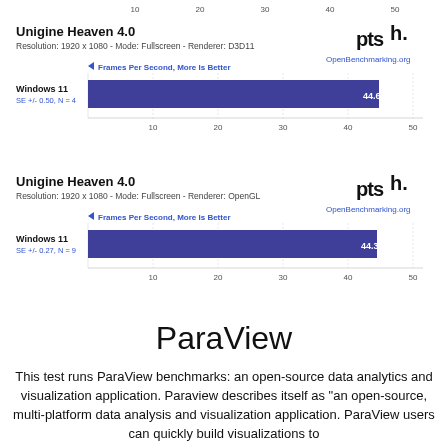[Figure (bar-chart): Unigine Heaven 4.0 - Resolution: 1920 x 1080 - Mode: Fullscreen - Renderer: D3D11]
[Figure (bar-chart): Unigine Heaven 4.0 - Resolution: 1920 x 1080 - Mode: Fullscreen - Renderer: OpenGL]
ParaView
This test runs ParaView benchmarks: an open-source data analytics and visualization application. Paraview describes itself as "an open-source, multi-platform data analysis and visualization application. ParaView users can quickly build visualizations to